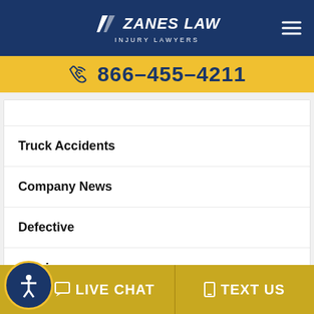Zanes Law Injury Lawyers — 866-455-4211
866-455-4211
Truck Accidents
Company News
Defective
Injuries
LIVE CHAT   TEXT US